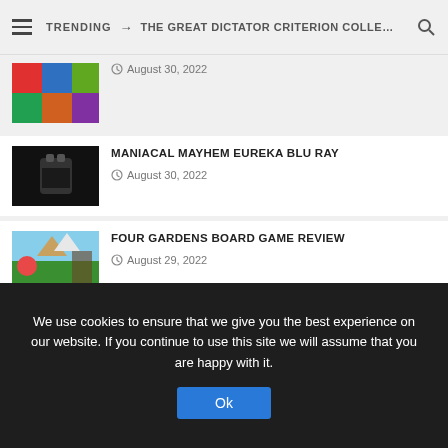TRENDING → THE GREAT DICTATOR CRITERION COLLE...
August 30, 2022
MANIACAL MAYHEM EUREKA BLU RAY — August 30, 2022
FOUR GARDENS BOARD GAME REVIEW — August 29, 2022
BUCK AND THE PREACHER CRITERION COLLECTION REVIEW BLU RAY — August 27, 2022
We use cookies to ensure that we give you the best experience on our website. If you continue to use this site we will assume that you are happy with it.